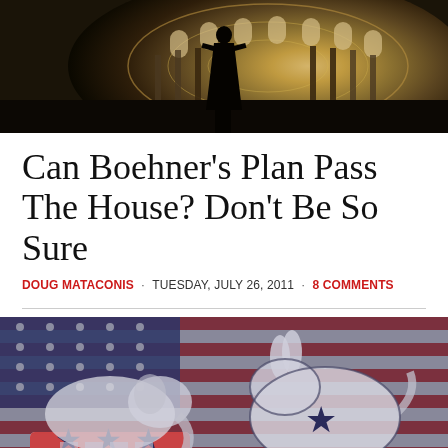[Figure (photo): Silhouette of a person standing inside the US Capitol rotunda, viewed from below showing the ornate dome interior]
Can Boehner’s Plan Pass The House? Don’t Be So Sure
DOUG MATACONIS · TUESDAY, JULY 26, 2011 · 8 COMMENTS
[Figure (photo): Republican elephant and Democratic donkey symbols overlaid on an American flag background]